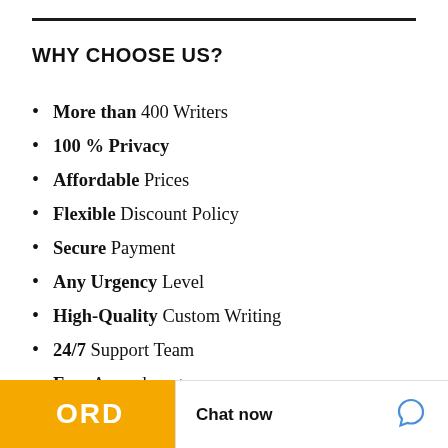WHY CHOOSE US?
More than 400 Writers
100 % Privacy
Affordable Prices
Flexible Discount Policy
Secure Payment
Any Urgency Level
High-Quality Custom Writing
24/7 Support Team
Free Amendments
Chat now